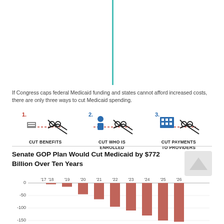[Figure (illustration): Vertical teal line running from top of page downward]
If Congress caps federal Medicaid funding and states cannot afford increased costs, there are only three ways to cut Medicaid spending.
[Figure (infographic): Three icons showing ways to cut Medicaid: 1. Cut Benefits (scissors cutting services icon), 2. Cut Who Is Enrolled (scissors cutting person icon), 3. Cut Payments to Providers (scissors cutting building icon)]
Senate GOP Plan Would Cut Medicaid by $772 Billion Over Ten Years
[Figure (bar-chart): Senate GOP Plan Would Cut Medicaid by $772 Billion Over Ten Years]